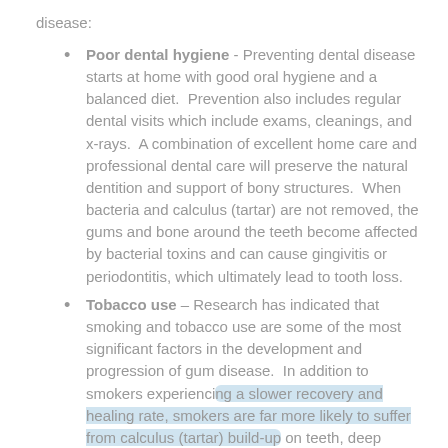disease:
Poor dental hygiene - Preventing dental disease starts at home with good oral hygiene and a balanced diet. Prevention also includes regular dental visits which include exams, cleanings, and x-rays. A combination of excellent home care and professional dental care will preserve the natural dentition and support of bony structures. When bacteria and calculus (tartar) are not removed, the gums and bone around the teeth become affected by bacterial toxins and can cause gingivitis or periodontitis, which ultimately lead to tooth loss.
Tobacco use – Research has indicated that smoking and tobacco use are some of the most significant factors in the development and progression of gum disease. In addition to smokers experiencing a slower recovery and healing rate, smokers are far more likely to suffer from calculus (tartar) build-up on teeth, deep pockets in the gingival tissue, and